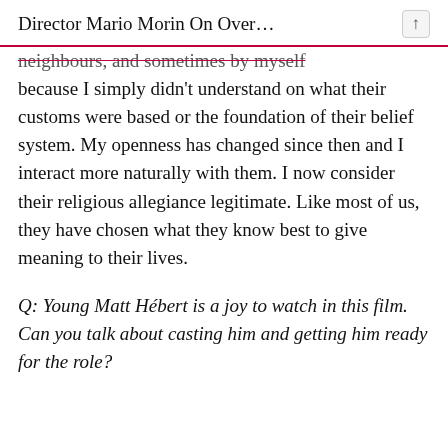Director Mario Morin On Over…
neighbours, and sometimes by myself because I simply didn't understand on what their customs were based or the foundation of their belief system. My openness has changed since then and I interact more naturally with them. I now consider their religious allegiance legitimate. Like most of us, they have chosen what they know best to give meaning to their lives.
Q: Young Matt Hébert is a joy to watch in this film. Can you talk about casting him and getting him ready for the role?